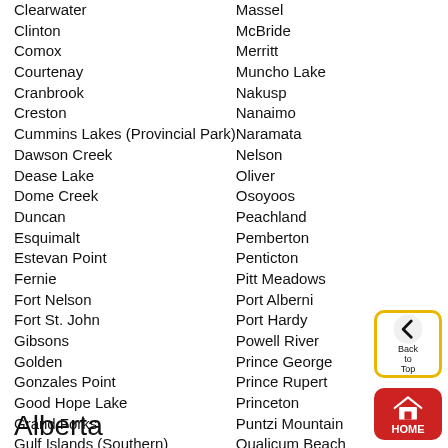Clearwater
Clinton
Comox
Courtenay
Cranbrook
Creston
Cummins Lakes (Provincial Park)
Dawson Creek
Dease Lake
Dome Creek
Duncan
Esquimalt
Estevan Point
Fernie
Fort Nelson
Fort St. John
Gibsons
Golden
Gonzales Point
Good Hope Lake
Grand Forks
Gulf Islands (Southern)
Massel
McBride
Merritt
Muncho Lake
Nakusp
Nanaimo
Naramata
Nelson
Oliver
Osoyoos
Peachland
Pemberton
Penticton
Pitt Meadows
Port Alberni
Port Hardy
Powell River
Prince George
Prince Rupert
Princeton
Puntzi Mountain
Qualicum Beach
Alberta